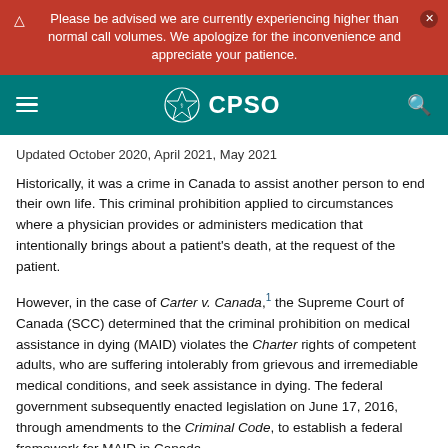Please be advised we are currently experiencing higher than normal call volumes. We apologize for the inconvenience and appreciate your patience.
CPSO
Updated October 2020, April 2021, May 2021
Historically, it was a crime in Canada to assist another person to end their own life. This criminal prohibition applied to circumstances where a physician provides or administers medication that intentionally brings about a patient's death, at the request of the patient.
However, in the case of Carter v. Canada,1 the Supreme Court of Canada (SCC) determined that the criminal prohibition on medical assistance in dying (MAID) violates the Charter rights of competent adults, who are suffering intolerably from grievous and irremediable medical conditions, and seek assistance in dying. The federal government subsequently enacted legislation on June 17, 2016, through amendments to the Criminal Code, to establish a federal framework for MAID in Canada.
In September 2019, the Superior Court of Quebec struck down one of the